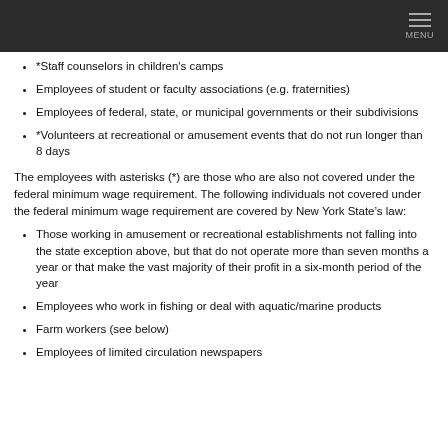MENU
*Staff counselors in children's camps
Employees of student or faculty associations (e.g. fraternities)
Employees of federal, state, or municipal governments or their subdivisions
*Volunteers at recreational or amusement events that do not run longer than 8 days
The employees with asterisks (*) are those who are also not covered under the federal minimum wage requirement. The following individuals not covered under the federal minimum wage requirement are covered by New York State’s law:
Those working in amusement or recreational establishments not falling into the state exception above, but that do not operate more than seven months a year or that make the vast majority of their profit in a six-month period of the year
Employees who work in fishing or deal with aquatic/marine products
Farm workers (see below)
Employees of limited circulation newspapers